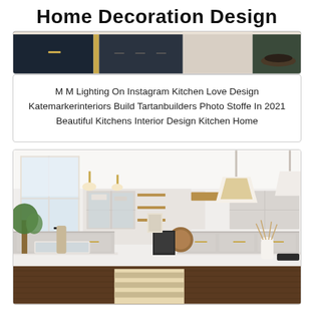Home Decoration Design
[Figure (photo): Partial view of a dark and light kitchen interior with gold accents]
M M Lighting On Instagram Kitchen Love Design Katemarkerinteriors Build Tartanbuilders Photo Stoffe In 2021 Beautiful Kitchens Interior Design Kitchen Home
[Figure (photo): Elegant white and grey kitchen interior with gold pendant lights, marble countertops, dark hardwood floors, farmhouse sink, and striped rug runner]